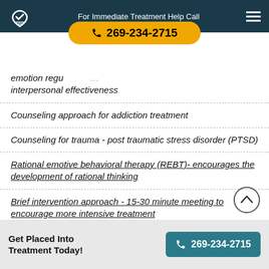For Immediate Treatment Help Call 269-234-2715
emotion regulation, interpersonal effectiveness
Counseling approach for addiction treatment
Counseling for trauma - post traumatic stress disorder (PTSD)
Rational emotive behavioral therapy (REBT)- encourages the development of rational thinking
Brief intervention approach - 15-30 minute meeting to encourage more intensive treatment
Contingency management (CM) incentivised behavioral therapy
Get Placed Into Treatment Today! 269-234-2715